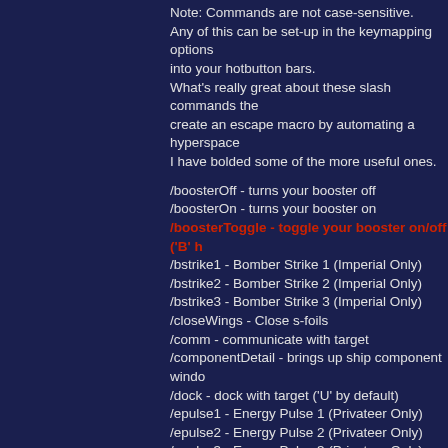Note: Commands are not case-sensitive.
Any of this can be set-up in the keymapping options into your hotbutton bars.
What's really great about these slash commands the create an escape macro by automating a hyperspace I have bolded some of the more useful ones.
/boosterOff - turns your booster off
/boosterOn - turns your booster on
/boosterToggle - toggle your booster on/off ('B' h
/bstrike1 - Bomber Strike 1 (Imperial Only)
/bstrike2 - Bomber Strike 2 (Imperial Only)
/bstrike3 - Bomber Strike 3 (Imperial Only)
/closeWings - Close s-foils
/comm - communicate with target
/componentDetail - brings up ship component windo
/dock - dock with target ('U' by default)
/epulse1 - Energy Pulse 1 (Privateer Only)
/epulse2 - Energy Pulse 2 (Privateer Only)
/epulse3 - Energy Pulse 3 (Privateer Only)
/escapepod yes - blows up your ship; you respa
/eshields - Emergency Shields (Alliance Only)
/ethrust - Emergency Thrust (Privateer Only)
/eweapons - Emergency Weapons (Imperial Only)
/iffscramble - IFF Transponder Scramble (Alliance /
/inspacereload - Underway Replenishment (Alliance
/inspacerepair - In Space Repair (Alliance Only)
/inspacerr - Repair and Replenishment (Alliance On
/inspect - Inspect the current target ('I' by default)
/istart1 - Jump Start 1 (Alliance Only)